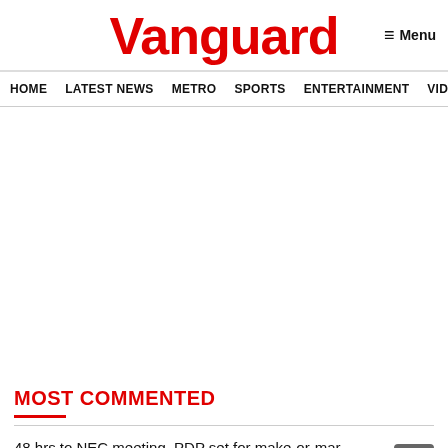Vanguard
Menu
HOME  LATEST NEWS  METRO  SPORTS  ENTERTAINMENT  VIDEOS
MOST COMMENTED
48 hrs to NEC meeting, PDP set for make-or-mar session
19